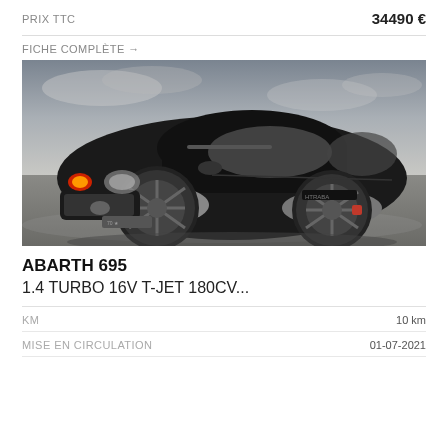PRIX TTC
34490 €
FICHE COMPLÈTE →
[Figure (photo): Black Abarth 695 car photographed from front-left three-quarter angle on a dark surface with cloudy sky background. The car is black with grey wheel arch extensions and black multi-spoke alloy wheels with red brake calipers.]
ABARTH 695
1.4 TURBO 16V T-JET 180CV...
KM
10 km
MISE EN CIRCULATION
01-07-2021